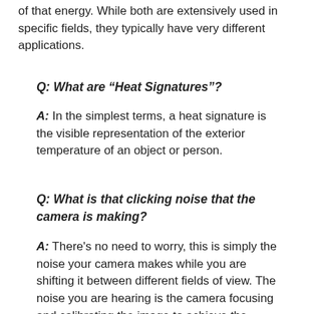of that energy. While both are extensively used in specific fields, they typically have very different applications.
Q: What are “Heat Signatures”?
A: In the simplest terms, a heat signature is the visible representation of the exterior temperature of an object or person.
Q: What is that clicking noise that the camera is making?
A: There’s no need to worry, this is simply the noise your camera makes while you are shifting it between different fields of view. The noise you are hearing is the camera focusing and calibrating the image to achieve the highest resolution possible.